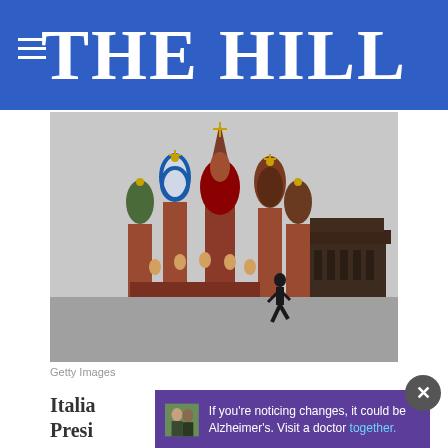THE HILL
[Figure (photo): Photo of Saint Basil's Cathedral in Moscow, Red Square, with a silhouetted person walking and Lenin's Mausoleum in the background, overcast sky. Credit: Getty Images.]
Getty Images
Italian...oed Presi...
[Figure (infographic): Advertisement overlay: two men looking at each other with text 'If you're noticing changes, it could be Alzheimer's. Visit a doctor together.' on purple background, with an X close button.]